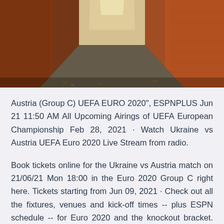[Figure (photo): A narrow cobblestone alley with brick walls on both sides, perspective view leading to a bright vanishing point, warm tones on the right wall, darker tones on the left.]
Austria (Group C) UEFA EURO 2020", ESPNPLUS Jun 21 11:50 AM All Upcoming Airings of UEFA European Championship Feb 28, 2021 · Watch Ukraine vs Austria UEFA Euro 2020 Live Stream from radio.
Book tickets online for the Ukraine vs Austria match on 21/06/21 Mon 18:00 in the Euro 2020 Group C right here. Tickets starting from Jun 09, 2021 · Check out all the fixtures, venues and kick-off times -- plus ESPN schedule -- for Euro 2020 and the knockout bracket. Feb 27, 2020 · Both Teams Ukraine vs Austria meet in International